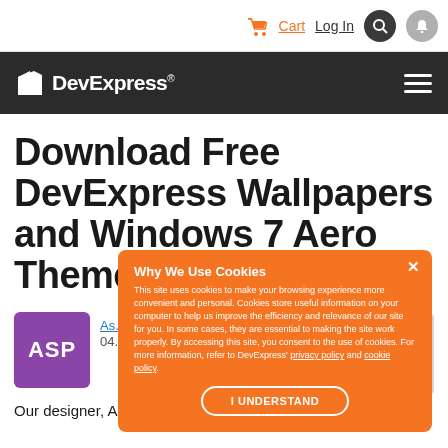Cart  Log In
[Figure (logo): DevExpress logo with white text on dark background nav bar]
Download Free DevExpress Wallpapers and Windows 7 Aero Theme
[Figure (infographic): Cookie consent popup overlay in orange: 'Why We Use Cookies' with body text and 'I UNDERSTAND' button]
Our designer, AJ, likes to experiment to keep his artistic skills